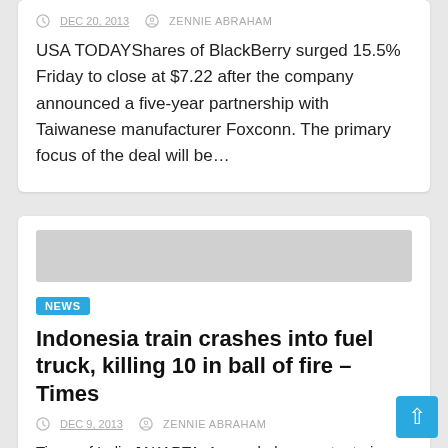USA TODAYShares of BlackBerry surged 15.5% Friday to close at $7.22 after the company announced a five-year partnership with Taiwanese manufacturer Foxconn. The primary focus of the deal will be…
DEC 20, 2013  ZENNIE ABRAHAM
NEWS
Indonesia train crashes into fuel truck, killing 10 in ball of fire – Times
DEC 9, 2013  ZENNIE ABRAHAM
Times of India JAKARTA: A crowded commuter train